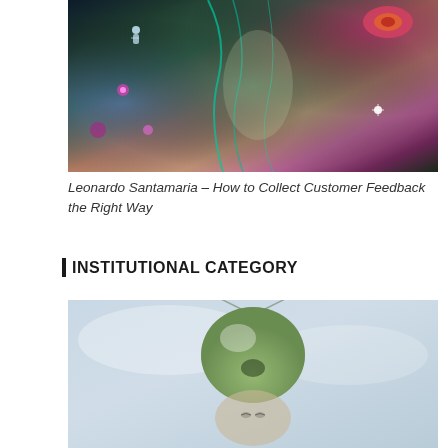[Figure (illustration): Colorful fantasy illustration by Leonardo Santamaria featuring a woman's face split into surreal, layered panels with psychedelic art elements including an eye, a small figure, glowing orbs, and flowing teal and pink colors]
Leonardo Santamaria – How to Collect Customer Feedback the Right Way
INSTITUTIONAL CATEGORY
[Figure (illustration): Surreal illustration of a green alien-like head or helmet with antennae, resembling a grasshopper or insect creature, positioned above a human-like face, on a light blue-grey background]